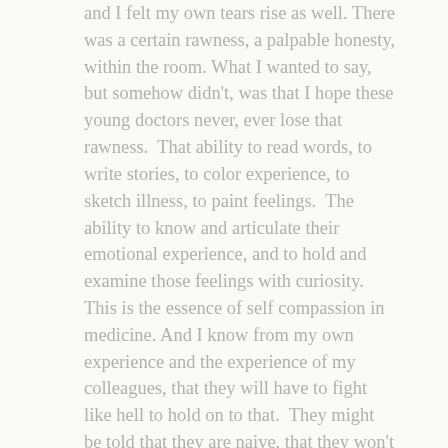and I felt my own tears rise as well. There was a certain rawness, a palpable honesty, within the room. What I wanted to say, but somehow didn't, was that I hope these young doctors never, ever lose that rawness. That ability to read words, to write stories, to color experience, to sketch illness, to paint feelings. The ability to know and articulate their emotional experience, and to hold and examine those feelings with curiosity. This is the essence of self compassion in medicine. And I know from my own experience and the experience of my colleagues, that they will have to fight like hell to hold on to that. They might be told that they are naive, that they won't be able to "take it", that they somehow can't be competent